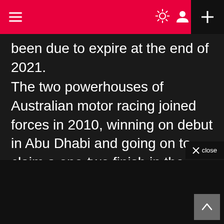Navigation bar with menu, sun/user icons, and plus button
been due to expire at the end of 2021.
The two powerhouses of Australian motor racing joined forces in 2010, winning on debut in Abu Dhabi and going on to claim a one-two finish in the Bathurst 1000 in the same year. In total, Holden and Triple Eight together have claimed eight teams’ championships, six drivers’ titles and four Bathurst 1000 victories.